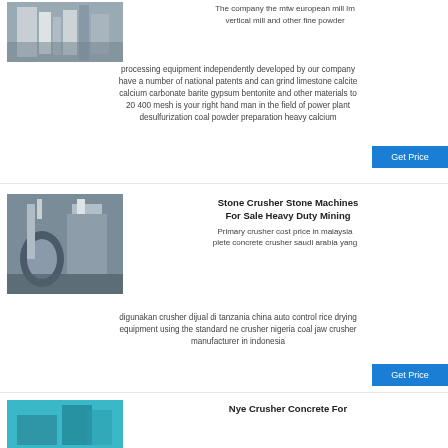[Figure (photo): Industrial powder processing mill equipment in a factory setting]
The company the mtw european mill lm vertical mill and other fine powder processing equipment independently developed by our company have a number of national patents and can grind limestone calcite calcium carbonate barite gypsum bentonite and other materials to 20 400 mesh is your right hand man in the field of power plant desulfurization coal powder preparation heavy calcium
Get Price
[Figure (photo): Stone crusher machine in a large industrial hall]
Stone Crusher Stone Machines For Sale Heavy Duty Mining
Primary crusher cost price in malaysia plete concrete crusher saudi arabia yang digunakan crusher dijual di tanzania china auto control rice drying equipment using the standard ne crusher nigeria coal jaw crusher manufacturer in indonesia
Get Price
[Figure (photo): Crusher concrete machinery, blue/cyan toned image]
Nye Crusher Concrete For